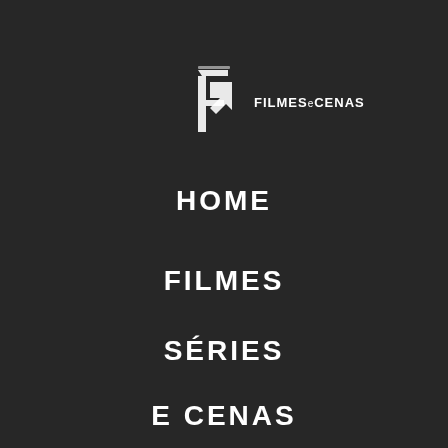[Figure (logo): FILMESeCENAS logo with stylized F arrow icon and text]
HOME
FILMES
SÉRIES
E CENAS